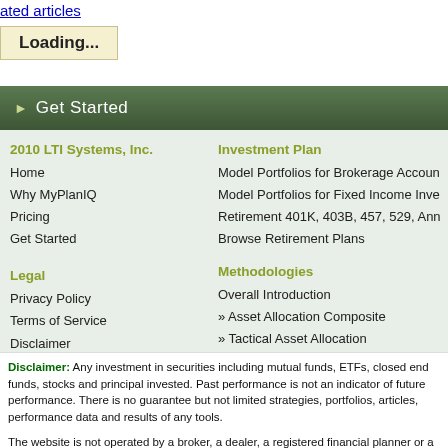lated articles
Loading...
Get Started
2010 LTI Systems, Inc.
Home
Why MyPlanIQ
Pricing
Get Started
Legal
Privacy Policy
Terms of Service
Disclaimer
Investment Plan
Model Portfolios for Brokerage Accoun
Model Portfolios for Fixed Income Inve
Retirement 401K, 403B, 457, 529, Ann
Browse Retirement Plans
Methodologies
Overall Introduction
» Asset Allocation Composite
» Tactical Asset Allocation
» Strategic Asset Allocation - Optimal
» Strategic Asset Allocation - Equal We
Disclaimer: Any investment in securities including mutual funds, ETFs, closed end funds, stocks and principal invested. Past performance is not an indicator of future performance. There is no guarantee but not limited strategies, portfolios, articles, performance data and results of any tools.
The website is not operated by a broker, a dealer, a registered financial planner or a registered inv